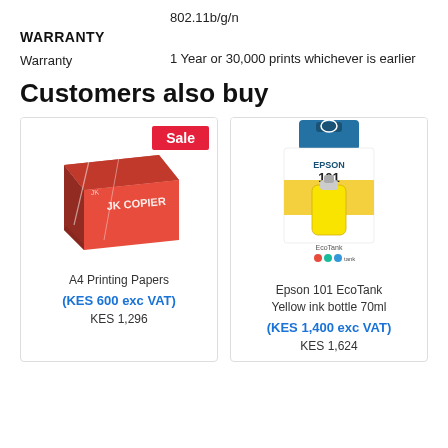802.11b/g/n
WARRANTY
|  |  |
| --- | --- |
| Warranty | 1 Year or 30,000 prints whichever is earlier |
Customers also buy
[Figure (photo): JK Copier A4 printing paper box with red packaging and a Sale badge]
A4 Printing Papers
(KES 600 exc VAT)
KES 1,296
[Figure (photo): Epson 101 EcoTank Yellow ink bottle 70ml in yellow and blue packaging]
Epson 101 EcoTank Yellow ink bottle 70ml
(KES 1,400 exc VAT)
KES 1,624